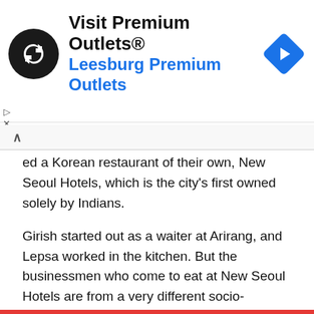[Figure (screenshot): Advertisement banner for Visit Premium Outlets® - Leesburg Premium Outlets, with circular logo on left and blue navigation arrow diamond on right]
ed a Korean restaurant of their own, New Seoul Hotels, which is the city's first owned solely by Indians.
Girish started out as a waiter at Arirang, and Lepsa worked in the kitchen. But the businessmen who come to eat at New Seoul Hotels are from a very different socio-economic world.
After four years in business, the restaurant has a loyal Korean clientele and Indian customers are increasing.
“They now make up at least 10% of all our customers and many of them are businessmen,” says Girish.
“They are quite knowledgeable about Korean food and